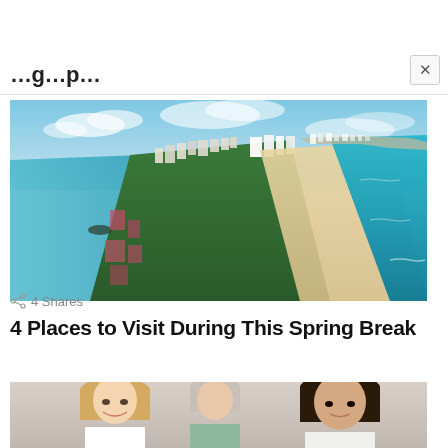…g…p…
[Figure (photo): Aerial view of a coastal beach strip with turquoise ocean water on the right, a bay on the left, white hotels and buildings along the beach, and dense tropical vegetation]
4 Shares
4 Places to Visit During This Spring Break
[Figure (photo): Group of young women smiling, partially visible at bottom of page]